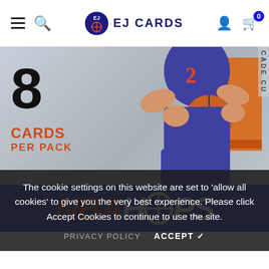EJ CARDS
[Figure (photo): NBA Hoops basketball card pack showing a basketball player wearing jersey number 2, holding a basketball. The pack shows '8 CARDS PER PACK' and has an NBA HOOPS logo on a blue banner. Text 'CADE CU' visible on the right side.]
The cookie settings on this website are set to 'allow all cookies' to give you the very best experience. Please click Accept Cookies to continue to use the site.
PRIVACY POLICY    ACCEPT ✔